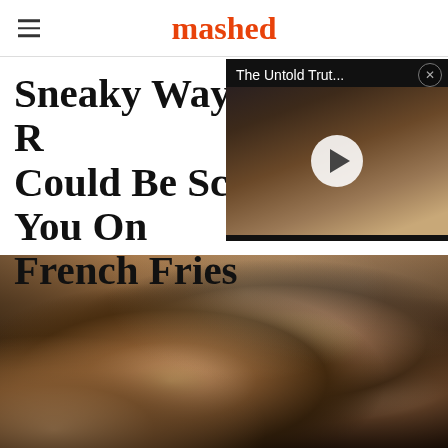mashed
Sneaky Ways Restaurants Could Be Scamming You On French Fries
[Figure (screenshot): Video thumbnail overlay showing a person with text 'The Untold Trut...' and a play button]
[Figure (photo): Restaurant scene with waitstaff serving customers at a table, people smiling and socializing]